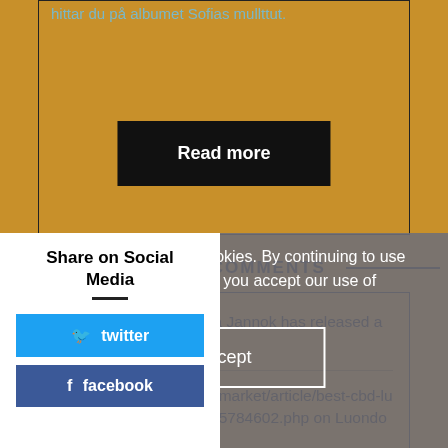hittar du på albumet Sofias mullttut.
Read more
RECENT COMMENTS
gW8iR8gO7E3 on Sofia Jannok has released a new music video
https://www.sfgate.com/market/article/best-cbd-lube-and-cbd-lubricants-15784602.php on Luondov ij lijssi iihédit...
Share on Social Media
twitter
facebook
uses cookies. By continuing to use this site, you accept our use of cookies.
Accept